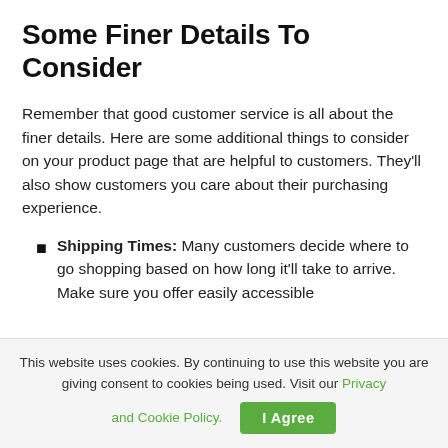Some Finer Details To Consider
Remember that good customer service is all about the finer details. Here are some additional things to consider on your product page that are helpful to customers. They'll also show customers you care about their purchasing experience.
Shipping Times: Many customers decide where to go shopping based on how long it'll take to arrive. Make sure you offer easily accessible shipping time options.
This website uses cookies. By continuing to use this website you are giving consent to cookies being used. Visit our Privacy and Cookie Policy.